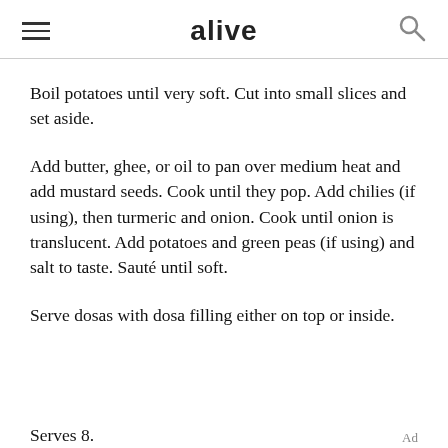alive
Boil potatoes until very soft. Cut into small slices and set aside.
Add butter, ghee, or oil to pan over medium heat and add mustard seeds. Cook until they pop. Add chilies (if using), then turmeric and onion. Cook until onion is translucent. Add potatoes and green peas (if using) and salt to taste. Sauté until soft.
Serve dosas with dosa filling either on top or inside.
Serves 8.